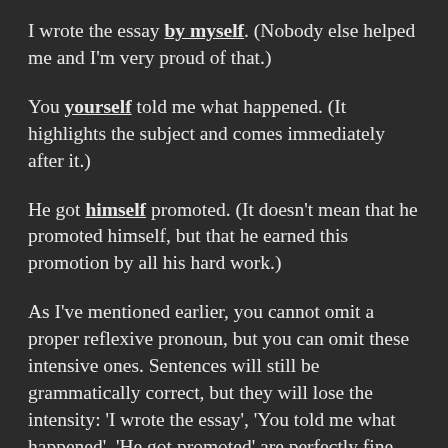I wrote the essay by myself. (Nobody else helped me and I'm very proud of that.)
You yourself told me what happened. (It highlights the subject and comes immediately after it.)
He got himself promoted. (It doesn't mean that he promoted himself, but that he earned this promotion by all his hard work.)
As I've mentioned earlier, you cannot omit a proper reflexive pronoun, but you can omit these intensive ones. Sentences will still be grammatically correct, but they will lose the intensity: 'I wrote the essay', 'You told me what happened', 'He got promoted' are perfectly fine, but they sound like simple facts with no emphasis.